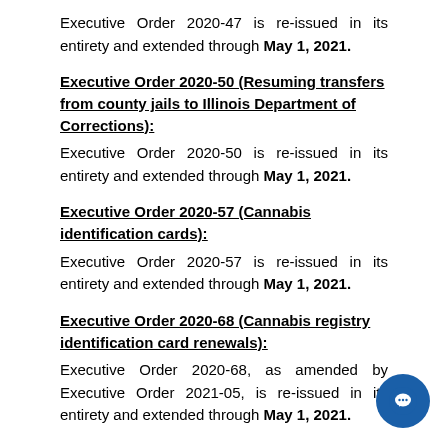Executive Order 2020-47 is re-issued in its entirety and extended through May 1, 2021.
Executive Order 2020-50 (Resuming transfers from county jails to Illinois Department of Corrections):
Executive Order 2020-50 is re-issued in its entirety and extended through May 1, 2021.
Executive Order 2020-57 (Cannabis identification cards):
Executive Order 2020-57 is re-issued in its entirety and extended through May 1, 2021.
Executive Order 2020-68 (Cannabis registry identification card renewals):
Executive Order 2020-68, as amended by Executive Order 2021-05, is re-issued in its entirety and extended through May 1, 2021.